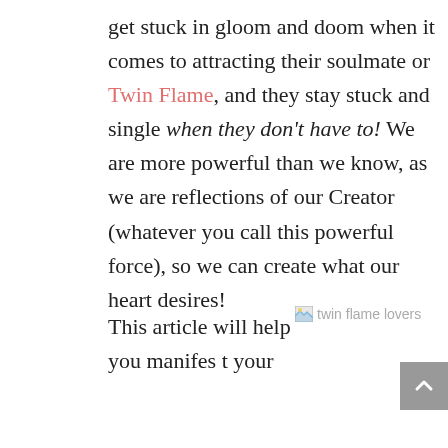get stuck in gloom and doom when it comes to attracting their soulmate or Twin Flame, and they stay stuck and single when they don't have to! We are more powerful than we know, as we are reflections of our Creator (whatever you call this powerful force), so we can create what our heart desires!
This article will help you manifest your
[Figure (illustration): Broken image placeholder with alt text 'twin flame lovers']